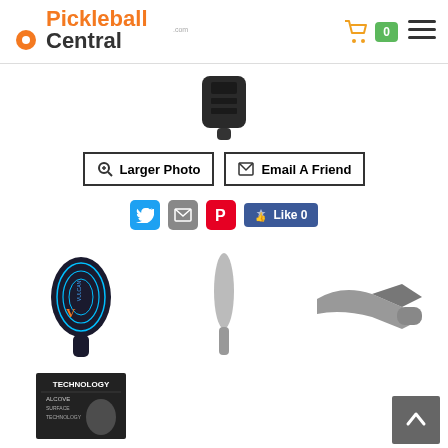[Figure (logo): Pickleball Central logo with orange text and orange pickleball icon]
[Figure (other): Shopping cart icon with green badge showing 0]
[Figure (other): Hamburger menu icon]
[Figure (photo): Product image - small dark item at top center]
[Figure (other): Larger Photo button with magnifier icon]
[Figure (other): Email A Friend button with envelope icon]
[Figure (other): Social sharing icons: Twitter, email, Pinterest, Facebook Like 0]
[Figure (photo): Thumbnail: Vulcan VX pickleball paddle, dark face with teal outline design]
[Figure (photo): Thumbnail: Paddle side/edge view in grey]
[Figure (photo): Thumbnail: Paddle handle/throat closeup in grey]
[Figure (photo): Thumbnail: Technology graphic for pickleball paddle]
[Figure (other): Back to top button arrow up]